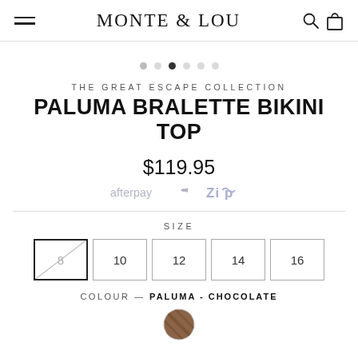MONTE & LOU — navigation bar with hamburger menu, logo, search and cart icons
[Figure (other): Carousel navigation dots — 6 dots, third one filled/active]
THE GREAT ESCAPE COLLECTION
PALUMA BRALETTE BIKINI TOP
$119.95
[Figure (logo): Afterpay logo and Zip logo side by side]
[Figure (other): Size selector — sizes 8 (sold out, crossed), 10, 12, 14, 16]
COLOUR — PALUMA - CHOCOLATE
[Figure (illustration): Circular colour swatch showing chocolate/brown pattern]